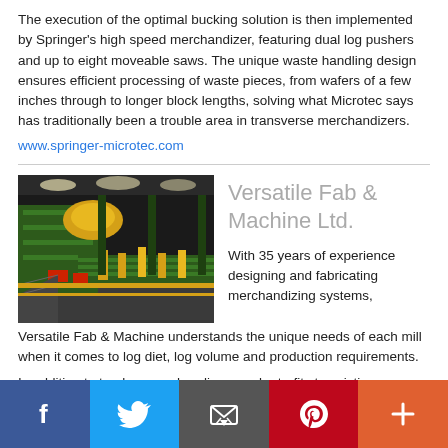The execution of the optimal bucking solution is then implemented by Springer's high speed merchandizer, featuring dual log pushers and up to eight moveable saws. The unique waste handling design ensures efficient processing of waste pieces, from wafers of a few inches through to longer block lengths, solving what Microtec says has traditionally been a trouble area in transverse merchandizers.
www.springer-microtec.com
[Figure (photo): Industrial merchandizing system inside a large factory building with green steel structures and yellow components.]
Versatile Fab & Machine Ltd.
With 35 years of experience designing and fabricating merchandizing systems, Versatile Fab & Machine understands the unique needs of each mill when it comes to log diet, log volume and production requirements.
In addition to turnkey merchandizers and retrofits to existing